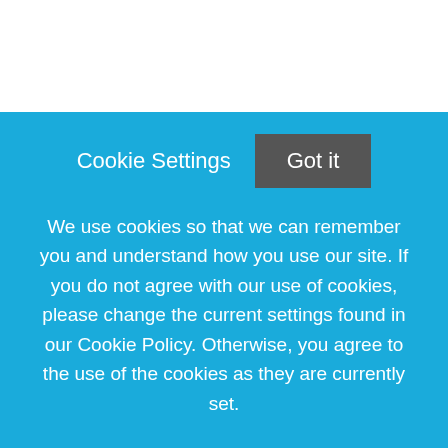See above.
[Figure (other): Button: envelope icon followed by 'Create a Job Alert for Simil...' on dark grey rounded pill background]
About Silver Valley Veterinary Clinic
Silver Valley Veterinary Clinic and Benewah Veterinary
Cookie Settings   Got it
We use cookies so that we can remember you and understand how you use our site. If you do not agree with our use of cookies, please change the current settings found in our Cookie Policy. Otherwise, you agree to the use of the cookies as they are currently set.